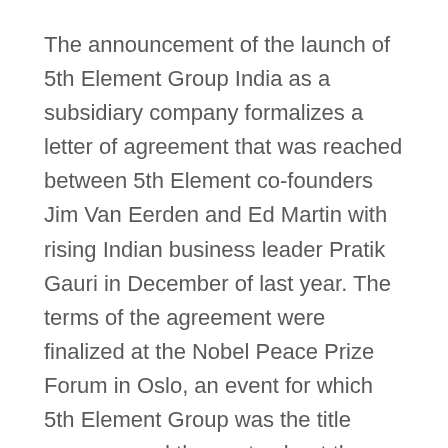The announcement of the launch of 5th Element Group India as a subsidiary company formalizes a letter of agreement that was reached between 5th Element co-founders Jim Van Eerden and Ed Martin with rising Indian business leader Pratik Gauri in December of last year. The terms of the agreement were finalized at the Nobel Peace Prize Forum in Oslo, an event for which 5th Element Group was the title sponsor, and the posts about the news went viral on social media including retweets from the Prime Minister's Office in India.
The company also announced its title sponsorship of the Indian Leadership Conclave, scheduled for